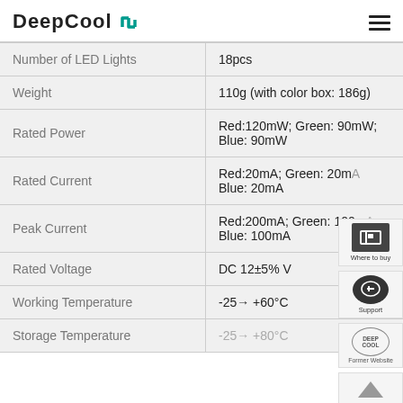DeepCool
| Specification | Value |
| --- | --- |
| Number of LED Lights | 18pcs |
| Weight | 110g (with color box: 186g) |
| Rated Power | Red:120mW; Green: 90mW; Blue: 90mW |
| Rated Current | Red:20mA; Green: 20mA; Blue: 20mA |
| Peak Current | Red:200mA; Green: 100mA; Blue: 100mA |
| Rated Voltage | DC 12±5% V |
| Working Temperature | -25→ +60°C |
| Storage Temperature | -25→ +80°C |